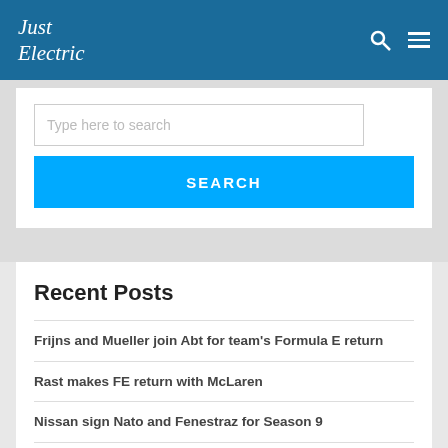Just Electric
[Figure (screenshot): Search input box with placeholder text 'Type here to search' and a blue SEARCH button below]
Recent Posts
Frijns and Mueller join Abt for team's Formula E return
Rast makes FE return with McLaren
Nissan sign Nato and Fenestraz for Season 9
Sardinia penalty reviewed; RXR dropped to fifth